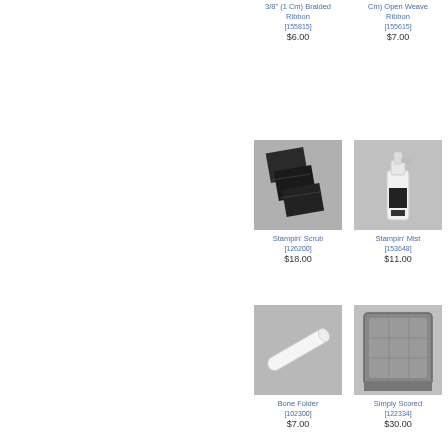3/8" (1 Cm) Braided Ribbon
[155815]
$6.00
Cm) Open Weave Ribbon
[155615]
$7.00
[Figure (photo): Stampin' Scrub - dark colored cleaning pads]
Stampin' Scrub
[126200]
$18.00
[Figure (photo): Stampin' Mist - white spray bottle]
Stampin' Mist
[153648]
$11.00
[Figure (photo): Bone Folder - white tool]
Bone Folder
[102300]
$7.00
[Figure (photo): Simply Scored - gray scoring tool/board]
Simply Scored
[122334]
$30.00